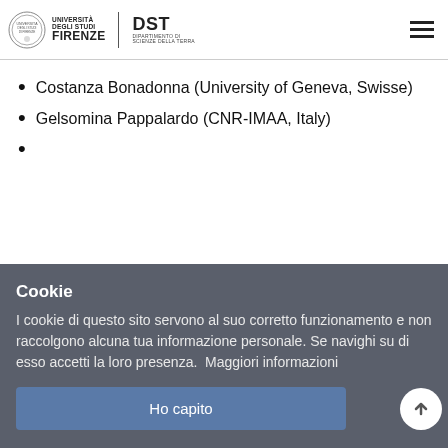Università degli Studi Firenze | DST Dipartimento di Scienze della Terra
Costanza Bonadonna (University of Geneva, Swisse)
Gelsomina Pappalardo (CNR-IMAA, Italy)
Cookie
I cookie di questo sito servono al suo corretto funzionamento e non raccolgono alcuna tua informazione personale. Se navighi su di esso accetti la loro presenza.  Maggiori informazioni
Ho capito